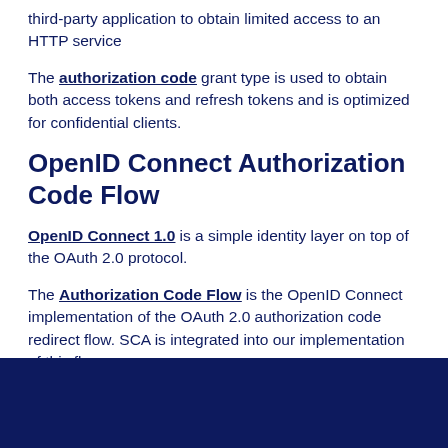third-party application to obtain limited access to an HTTP service
The authorization code grant type is used to obtain both access tokens and refresh tokens and is optimized for confidential clients.
OpenID Connect Authorization Code Flow
OpenID Connect 1.0 is a simple identity layer on top of the OAuth 2.0 protocol.
The Authorization Code Flow is the OpenID Connect implementation of the OAuth 2.0 authorization code redirect flow. SCA is integrated into our implementation of this flow.